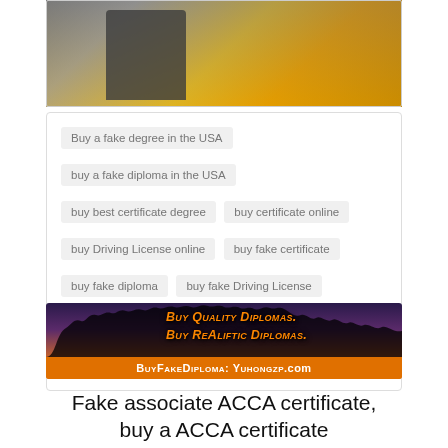[Figure (photo): Top portion of a photo showing a yellow vehicle and a person, partially cropped]
Buy a fake degree in the USA
buy a fake diploma in the USA
buy best certificate degree
buy certificate online
buy Driving License online
buy fake certificate
buy fake diploma
buy fake Driving License
buy realistic Driving License
fake college diploma for sale
[Figure (photo): Advertisement banner with silhouettes of graduates tossing caps, text reads: BUY QUALITY DIPLOMAS. BUY REALIFTIC DIPLOMAS. BUY FAKE DIPLOMA: YUHONGZP.COM]
Fake associate ACCA certificate, buy a ACCA certificate